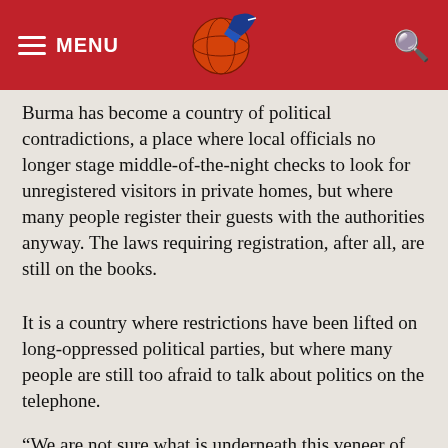MENU [logo] [search]
Burma has become a country of political contradictions, a place where local officials no longer stage middle-of-the-night checks to look for unregistered visitors in private homes, but where many people register their guests with the authorities anyway. The laws requiring registration, after all, are still on the books.
It is a country where restrictions have been lifted on long-oppressed political parties, but where many people are still too afraid to talk about politics on the telephone.
“We are not sure what is underneath this veneer of change and how sustainable these changes are,” Yin Sein said.